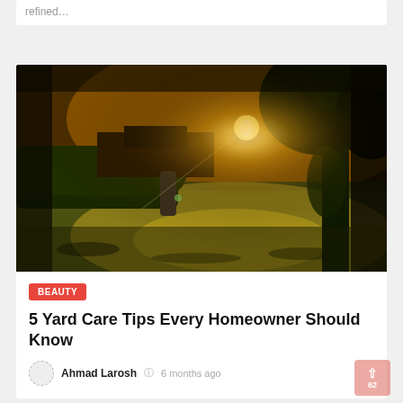refined…
[Figure (photo): Outdoor yard scene at sunset with golden light shining through trees onto a green lawn with trimmed hedges and a building in background.]
BEAUTY
5 Yard Care Tips Every Homeowner Should Know
Ahmad Larosh  6 months ago